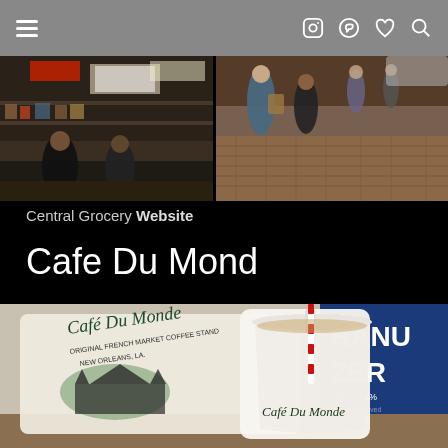Navigation header with hamburger menu and icons
[Figure (photo): Interior of Central Grocery store showing counter and merchandise]
[Figure (photo): Sidewalk outside Central Grocery with people in line]
Central Grocery Website
Cafe Du Mond
[Figure (photo): Cafe Du Monde bag and coffee cup on table with HAND SANITIZER sign in background]